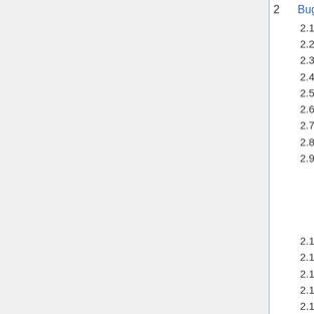2  Bug fixes
2.1  Packaging
2.2  General User Interface
2.3  Canvas
2.4  Dialogs
2.5  Tools
2.6  Import / Export
2.7  Live Path Effects
2.8  Performance
2.9  Extensions
2.9.1  Extension failure fixes
2.9.2  Extension API changes / Improvements for Extension Developers
2.10  Filters
2.11  Templates
2.12  Color management
2.13  Command line
2.14  For packagers
3  Crash fixes